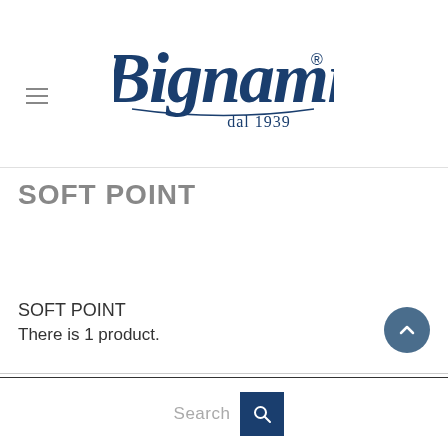[Figure (logo): Bignami logo in dark navy blue cursive script with 'dal 1939' underneath, registered trademark symbol]
SOFT POINT
SOFT POINT
There is 1 product.
Search